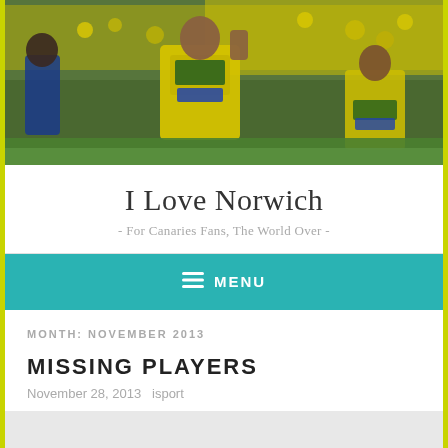[Figure (photo): Football players celebrating on a pitch, wearing yellow and green Norwich City jerseys with AVIVA sponsor, with a crowd of yellow-clad fans in the background]
I Love Norwich
- For Canaries Fans, The World Over -
≡ MENU
MONTH: NOVEMBER 2013
MISSING PLAYERS
November 28, 2013   isport